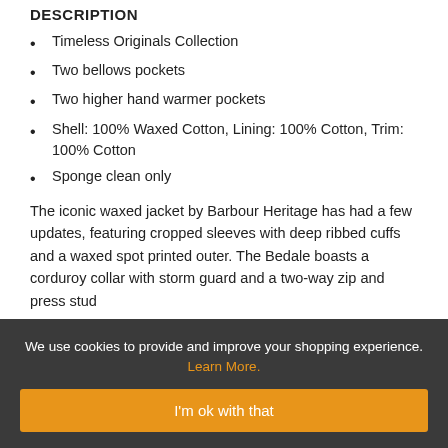DESCRIPTION
Timeless Originals Collection
Two bellows pockets
Two higher hand warmer pockets
Shell: 100% Waxed Cotton, Lining: 100% Cotton, Trim: 100% Cotton
Sponge clean only
The iconic waxed jacket by Barbour Heritage has had a few updates, featuring cropped sleeves with deep ribbed cuffs and a waxed spot printed outer. The Bedale boasts a corduroy collar with storm guard and a two-way zip and press stud
We use cookies to provide and improve your shopping experience. Learn More.
I'm ok with that